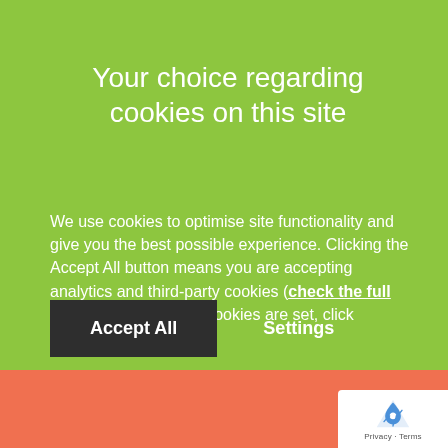Your choice regarding cookies on this site
We use cookies to optimise site functionality and give you the best possible experience. Clicking the Accept All button means you are accepting analytics and third-party cookies (check the full list). To control which cookies are set, click Settings.
Accept All
Settings